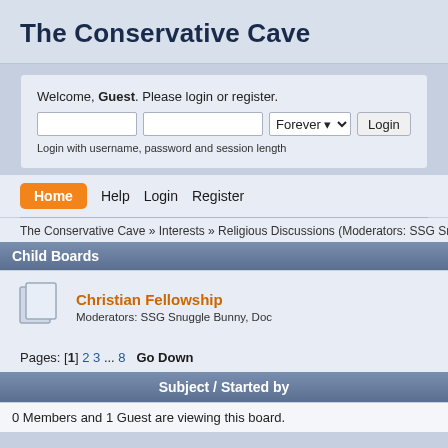The Conservative Cave
Welcome, Guest. Please login or register.
Login with username, password and session length
Home
Help
Login
Register
The Conservative Cave » Interests » Religious Discussions (Moderators: SSG Snuggle B…
Child Boards
Christian Fellowship
Moderators: SSG Snuggle Bunny, Doc
Pages: [1] 2 3 ... 8   Go Down
Subject / Started by
0 Members and 1 Guest are viewing this board.